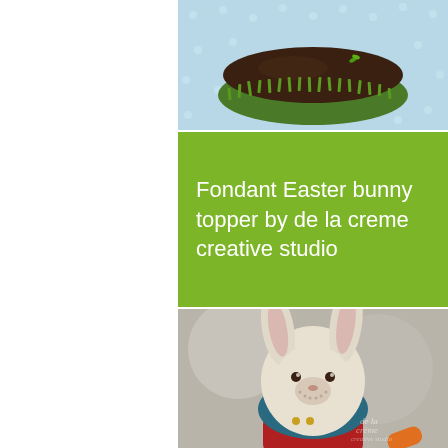[Figure (photo): Photo of a chocolate cake with green fondant grass decoration on a blue polka dot background, viewed from above]
Fondant Easter bunny topper by de la creme creative studio
[Figure (photo): Photo of a fondant Easter bunny figurine with white fluffy body, long ears, wearing blue top and red overalls, holding a carrot. De la crème creative studio watermark in bottom right.]